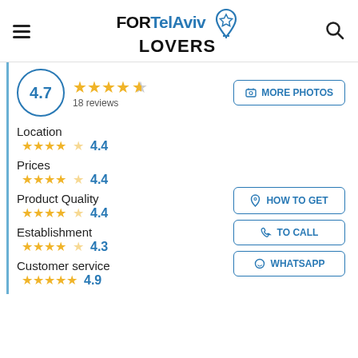FORTelAviv LOVERS
[Figure (other): Rating block: 4.7 score in circle, 4.5 stars, 18 reviews, MORE PHOTOS button]
Location
[Figure (other): 4 filled stars + half star, score 4.4]
Prices
[Figure (other): 4 filled stars + half star, score 4.4]
Product Quality
[Figure (other): 4 filled stars + half star, score 4.4]
Establishment
[Figure (other): 4 filled stars + half star, score 4.3]
Customer service
[Figure (other): 5 filled stars, score 4.9]
HOW TO GET
TO CALL
WHATSAPP